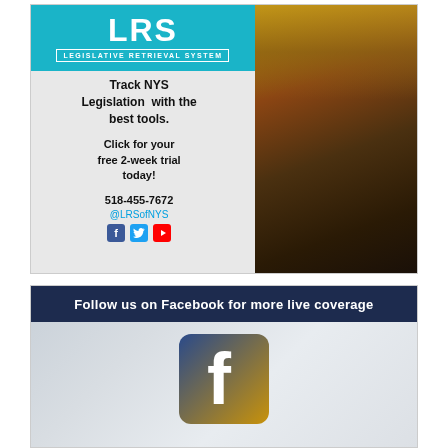[Figure (infographic): LRS Legislative Retrieval System advertisement. Teal header with 'LRS' logo and 'LEGISLATIVE RETRIEVAL SYSTEM' text. Left side shows text: 'Track NYS Legislation with the best tools. Click for your free 2-week trial today! 518-455-7672 @LRSofNYS' with Facebook, Twitter, YouTube icons. Right side shows a hallway/corridor photo.]
[Figure (infographic): Facebook follow advertisement. Dark navy bar at top reads 'Follow us on Facebook for more live coverage'. Below is a Facebook logo icon on a faded background showing the NY State Capitol building.]